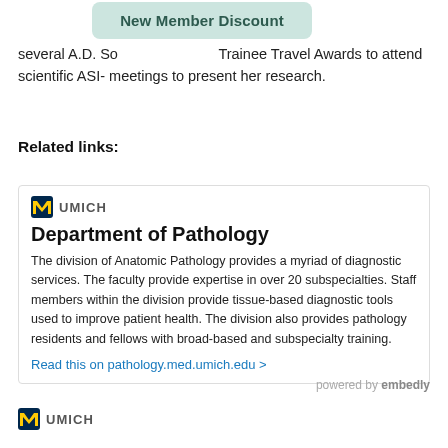several A.D. So... Trainee Travel Awards to attend scientific ASI- meetings to present her research.
Related links:
[Figure (other): UMICH logo with block M in blue and gold]
Department of Pathology
The division of Anatomic Pathology provides a myriad of diagnostic services. The faculty provide expertise in over 20 subspecialties. Staff members within the division provide tissue-based diagnostic tools used to improve patient health. The division also provides pathology residents and fellows with broad-based and subspecialty training.
Read this on pathology.med.umich.edu >
powered by embedly
[Figure (logo): UMICH logo with block M in blue and gold]